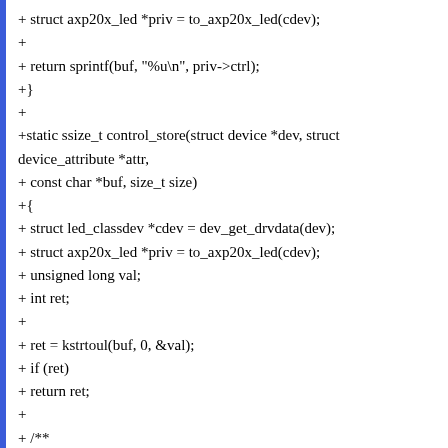+ struct axp20x_led *priv = to_axp20x_led(cdev);
+
+ return sprintf(buf, "%u\n", priv->ctrl);
+}
+
+static ssize_t control_store(struct device *dev, struct device_attribute *attr,
+ const char *buf, size_t size)
+{
+ struct led_classdev *cdev = dev_get_drvdata(dev);
+ struct axp20x_led *priv = to_axp20x_led(cdev);
+ unsigned long val;
+ int ret;
+
+ ret = kstrtoul(buf, 0, &val);
+ if (ret)
+ return ret;
+
+ /**
+ * Supported values are:
+ * - 0 : Manual control
+ * - 1 : Charger control
+ */
+ if (val > 1)
+ return -EINVAL;